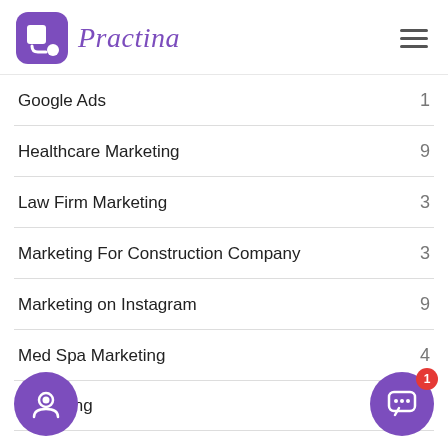Practina
Google Ads  1
Healthcare Marketing  9
Law Firm Marketing  3
Marketing For Construction Company  3
Marketing on Instagram  9
Med Spa Marketing  4
Marketing
Real Estate Social Media Marketing